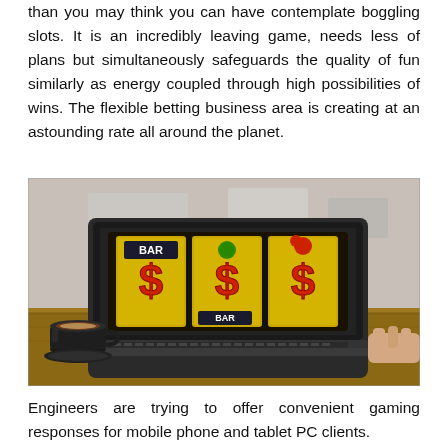than you may think you can have contemplate boggling slots. It is an incredibly leaving game, needs less of plans but simultaneously safeguards the quality of fun similarly as energy coupled through high possibilities of wins. The flexible betting business area is creating at an astounding rate all around the planet.
[Figure (photo): A laptop on a wooden desk displaying a slot machine game with three dollar sign ($) symbols on golden reels and a BAR symbol. A black coffee cup and saucer sits to the left of the laptop, and a person's hand is visible on the right side using the laptop.]
Engineers are trying to offer convenient gaming responses for mobile phone and tablet PC clients.